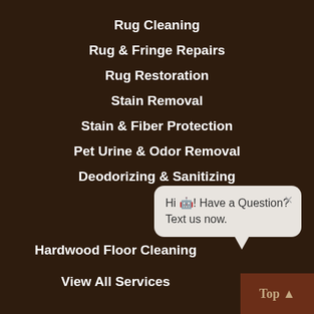Rug Cleaning
Rug & Fringe Repairs
Rug Restoration
Stain Removal
Stain & Fiber Protection
Pet Urine & Odor Removal
Deodorizing & Sanitizing
Hi 🤖! Have a Question? Text us now.
Hardwood Floor Cleaning
View All Services